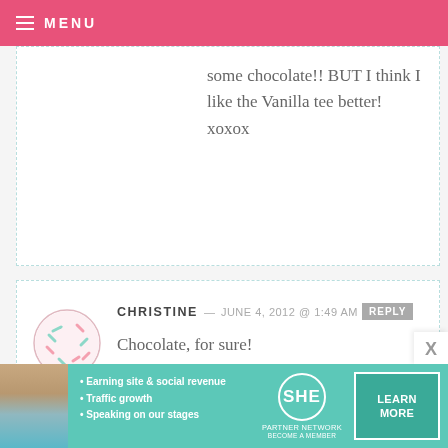MENU
some chocolate!! BUT I think I like the Vanilla tee better! xoxox
CHRISTINE — JUNE 4, 2012 @ 1:49 AM  REPLY
Chocolate, for sure!
KELLY LARABIE — JUNE 4, 2012 @ 1:49 AM  REPLY
Chocolate!
[Figure (infographic): SHE Partner Network banner advertisement with photo of a woman, bullet points about earning site & social revenue, traffic growth, speaking on stages, SHE logo circle, and LEARN MORE button]